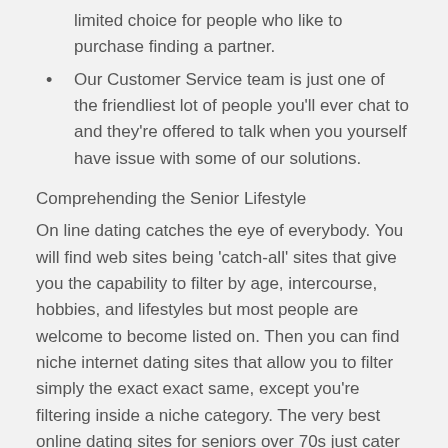limited choice for people who like to purchase finding a partner.
Our Customer Service team is just one of the friendliest lot of people you'll ever chat to and they're offered to talk when you yourself have issue with some of our solutions.
Comprehending the Senior Lifestyle
On line dating catches the eye of everybody. You will find web sites being 'catch-all' sites that give you the capability to filter by age, intercourse, hobbies, and lifestyles but most people are welcome to become listed on. Then you can find niche internet dating sites that allow you to filter simply the exact exact same, except you're filtering inside a niche category. The very best online dating sites for seniors over 70s just cater to people thinking about senior relationship; this renders out anyone perhaps not enthusiastic about dating above or below an age group that is certain. Moreover it means your website happens to be created particularly for you!